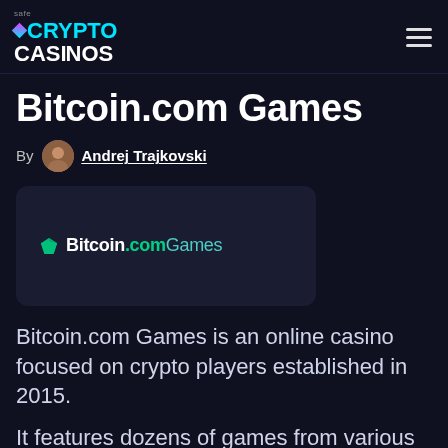safe CRYPTO CASINOS
Bitcoin.com Games
By Andrej Trajkovski
[Figure (logo): Bitcoin.com Games logo on dark background card]
Bitcoin.com Games is an online casino focused on crypto players established in 2015.
It features dozens of games from various providers and includes Bitcoin.com exclusive games.